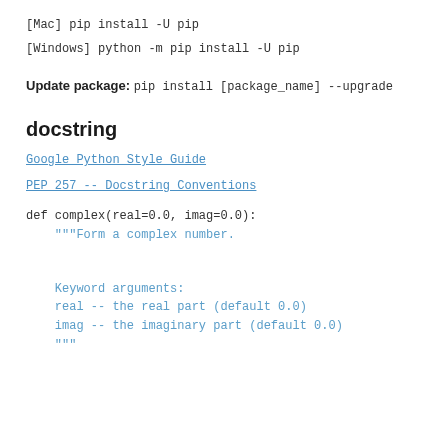[Mac] pip install -U pip
[Windows] python -m pip install -U pip
Update package: pip install [package_name] --upgrade
docstring
Google Python Style Guide
PEP 257 -- Docstring Conventions
def complex(real=0.0, imag=0.0):
    """Form a complex number.


    Keyword arguments:
    real -- the real part (default 0.0)
    imag -- the imaginary part (default 0.0)
    """